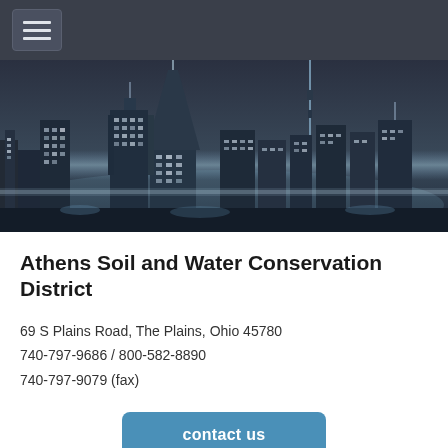[Figure (screenshot): Navigation bar with hamburger menu icon on dark gray background]
[Figure (photo): Black and white nighttime cityscape with illuminated skyscrapers and city lights in the background]
Athens Soil and Water Conservation District
69 S Plains Road, The Plains, Ohio 45780
740-797-9686 / 800-582-8890
740-797-9079 (fax)
contact us